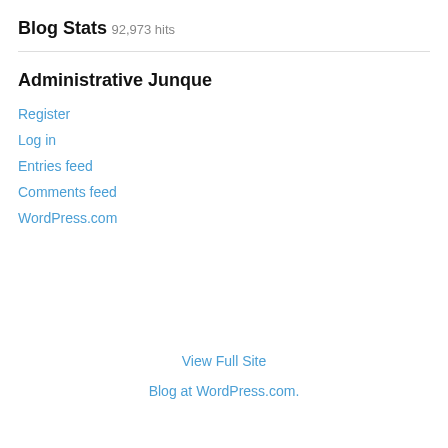Blog Stats
92,973 hits
Administrative Junque
Register
Log in
Entries feed
Comments feed
WordPress.com
View Full Site
Blog at WordPress.com.